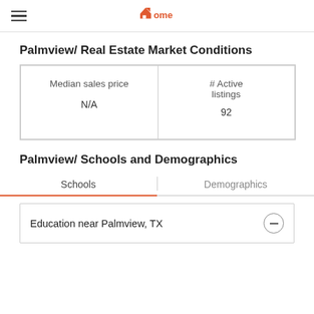xome
Palmview/ Real Estate Market Conditions
| Median sales price | # Active listings |
| --- | --- |
| N/A | 92 |
Palmview/ Schools and Demographics
Schools | Demographics
Education near Palmview, TX